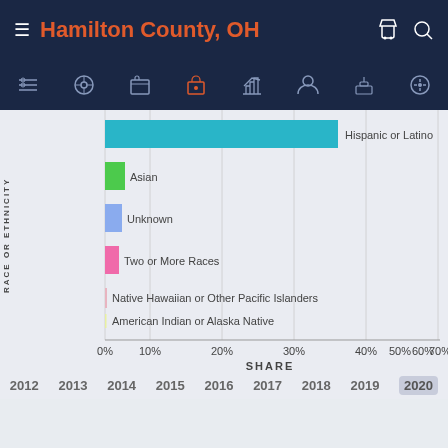Hamilton County, OH
[Figure (bar-chart): Race or Ethnicity by Share]
2012  2013  2014  2015  2016  2017  2018  2019  2020